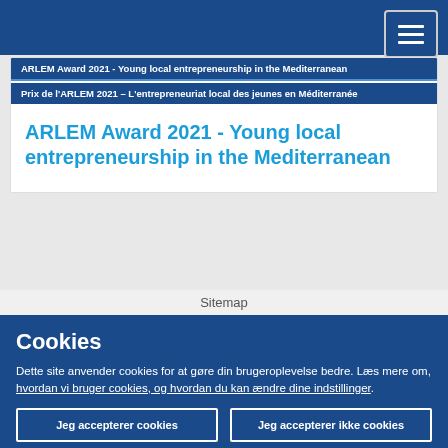ARLEM Award 2021 - Young local entrepreneurship in the Mediterranean | Prix de l'ARLEM 2021 – L'entrepreneuriat local des jeunes en Méditerranée
ARLEM Award 2021 - Young local entrepreneurship in the Mediterranean
Sitemap
Cookies
Dette site anvender cookies for at gøre din brugeroplevelse bedre. Læs mere om, hvordan vi bruger cookies, og hvordan du kan ændre dine indstillinger.
Jeg accepterer cookies
Jeg accepterer ikke cookies